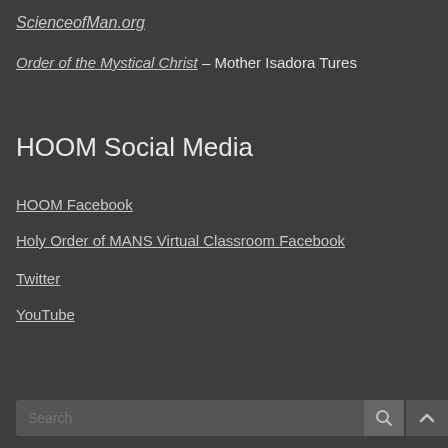ScienceofMan.org
Order of the Mystical Christ – Mother Isadora Tures
HOOM Social Media
HOOM Facebook
Holy Order of MANS Virtual Classroom Facebook
Twitter
YouTube